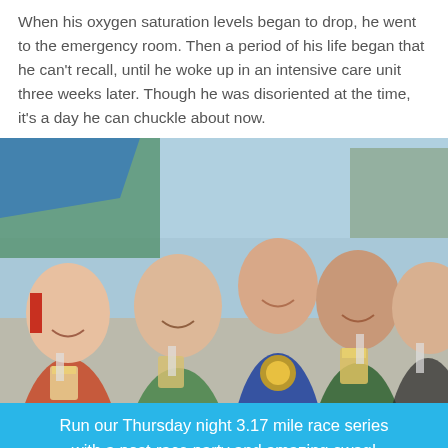When his oxygen saturation levels began to drop, he went to the emergency room. Then a period of his life began that he can't recall, until he woke up in an intensive care unit three weeks later. Though he was disoriented at the time, it's a day he can chuckle about now.
[Figure (photo): Group photo of five people (four women and one man) smiling, holding cups of beer, wearing race medals around their necks. Outdoor setting near a pool or recreational area.]
Run our Thursday night 3.17 mile race series with a post-race party and amazing swag! Run(317)